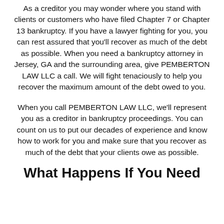As a creditor you may wonder where you stand with clients or customers who have filed Chapter 7 or Chapter 13 bankruptcy. If you have a lawyer fighting for you, you can rest assured that you'll recover as much of the debt as possible. When you need a bankruptcy attorney in Jersey, GA and the surrounding area, give PEMBERTON LAW LLC a call. We will fight tenaciously to help you recover the maximum amount of the debt owed to you.
When you call PEMBERTON LAW LLC, we'll represent you as a creditor in bankruptcy proceedings. You can count on us to put our decades of experience and know how to work for you and make sure that you recover as much of the debt that your clients owe as possible.
What Happens If You Need